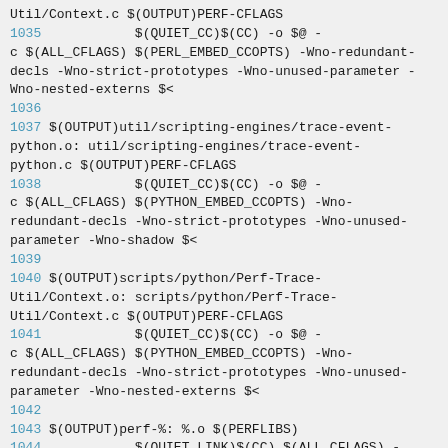Util/Context.c $(OUTPUT)PERF-CFLAGS
1035		$(QUIET_CC)$(CC) -o $@ -c $(ALL_CFLAGS) $(PERL_EMBED_CCOPTS) -Wno-redundant-decls -Wno-strict-prototypes -Wno-unused-parameter -Wno-nested-externs $<
1036
1037 $(OUTPUT)util/scripting-engines/trace-event-python.o: util/scripting-engines/trace-event-python.c $(OUTPUT)PERF-CFLAGS
1038		$(QUIET_CC)$(CC) -o $@ -c $(ALL_CFLAGS) $(PYTHON_EMBED_CCOPTS) -Wno-redundant-decls -Wno-strict-prototypes -Wno-unused-parameter -Wno-shadow $<
1039
1040 $(OUTPUT)scripts/python/Perf-Trace-Util/Context.o: scripts/python/Perf-Trace-Util/Context.c $(OUTPUT)PERF-CFLAGS
1041		$(QUIET_CC)$(CC) -o $@ -c $(ALL_CFLAGS) $(PYTHON_EMBED_CCOPTS) -Wno-redundant-decls -Wno-strict-prototypes -Wno-unused-parameter -Wno-nested-externs $<
1042
1043 $(OUTPUT)perf-%: %.o $(PERFLIBS)
1044		$(QUIET_LINK)$(CC) $(ALL_CFLAGS) -o $@ $(ALL_LDFLAGS) $(filter %.o,$^) $(LIBS)